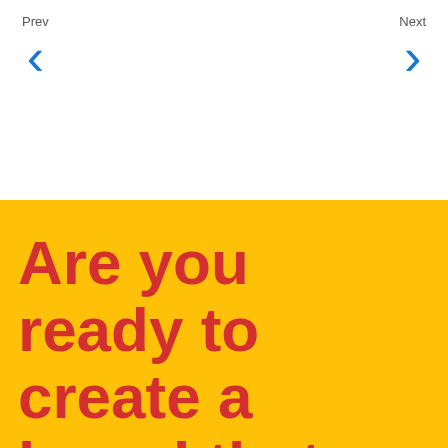Prev
Next
Are you ready to create a brand that makes you